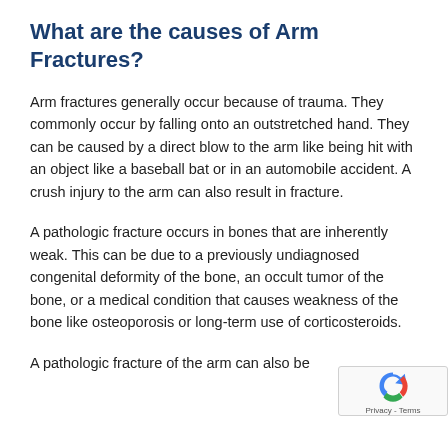What are the causes of Arm Fractures?
Arm fractures generally occur because of trauma. They commonly occur by falling onto an outstretched hand. They can be caused by a direct blow to the arm like being hit with an object like a baseball bat or in an automobile accident. A crush injury to the arm can also result in fracture.
A pathologic fracture occurs in bones that are inherently weak. This can be due to a previously undiagnosed congenital deformity of the bone, an occult tumor of the bone, or a medical condition that causes weakness of the bone like osteoporosis or long-term use of corticosteroids.
A pathologic fracture of the arm can also be